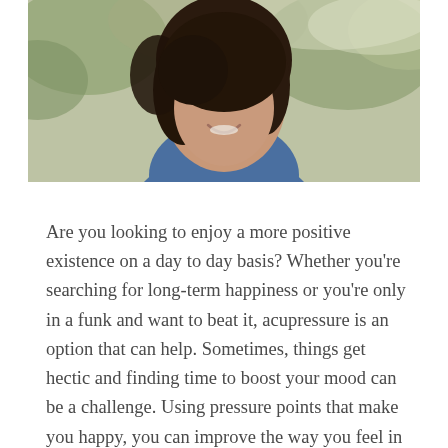[Figure (photo): A smiling woman with dark hair and a blue denim jacket photographed outdoors with blurred green foliage in the background.]
Are you looking to enjoy a more positive existence on a day to day basis? Whether you're searching for long-term happiness or you're only in a funk and want to beat it, acupressure is an option that can help. Sometimes, things get hectic and finding time to boost your mood can be a challenge. Using pressure points that make you happy, you can improve the way you feel in a matter